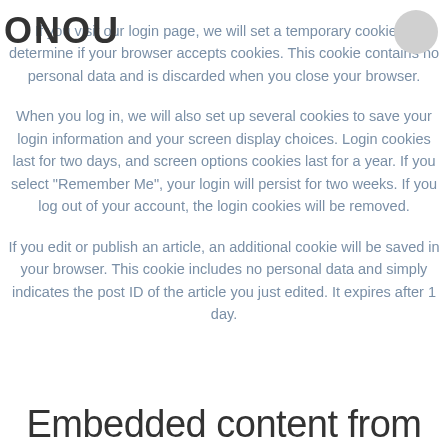If you visit our login page, we will set a temporary cookie to determine if your browser accepts cookies. This cookie contains no personal data and is discarded when you close your browser.
When you log in, we will also set up several cookies to save your login information and your screen display choices. Login cookies last for two days, and screen options cookies last for a year. If you select "Remember Me", your login will persist for two weeks. If you log out of your account, the login cookies will be removed.
If you edit or publish an article, an additional cookie will be saved in your browser. This cookie includes no personal data and simply indicates the post ID of the article you just edited. It expires after 1 day.
Embedded content from